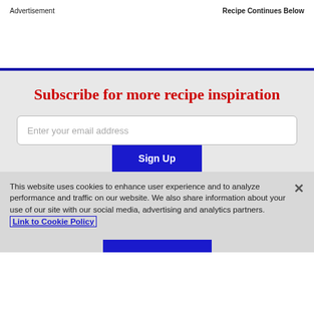Advertisement   Recipe Continues Below
Subscribe for more recipe inspiration
Enter your email address
Sign Up
This website uses cookies to enhance user experience and to analyze performance and traffic on our website. We also share information about your use of our site with our social media, advertising and analytics partners. Link to Cookie Policy